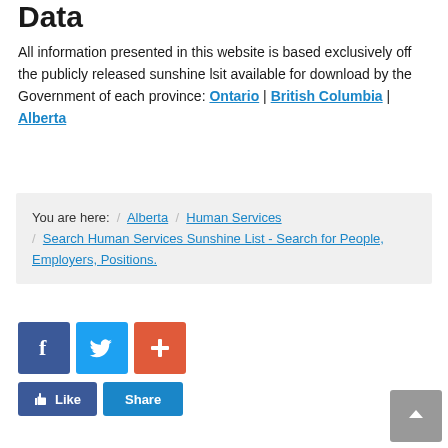Data
All information presented in this website is based exclusively off the publicly released sunshine lsit available for download by the Government of each province: Ontario | British Columbia | Alberta
You are here: / Alberta / Human Services / Search Human Services Sunshine List - Search for People, Employers, Positions.
[Figure (infographic): Social media buttons: Facebook (blue), Twitter (blue), and a red plus/share button. Below are a blue Like button and a Share button.]